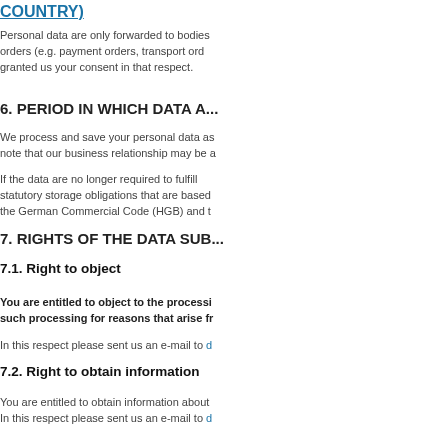COUNTRY)
Personal data are only forwarded to bodies orders (e.g. payment orders, transport ord... granted us your consent in that respect.
6. PERIOD IN WHICH DATA A...
We process and save your personal data as... note that our business relationship may be a...
If the data are no longer required to fulfill... statutory storage obligations that are based... the German Commercial Code (HGB) and t...
7. RIGHTS OF THE DATA SUB...
7.1. Right to object
You are entitled to object to the processi... such processing for reasons that arise fr...
In this respect please sent us an e-mail to d...
7.2. Right to obtain information
You are entitled to obtain information about... In this respect please sent us an e-mail to d...